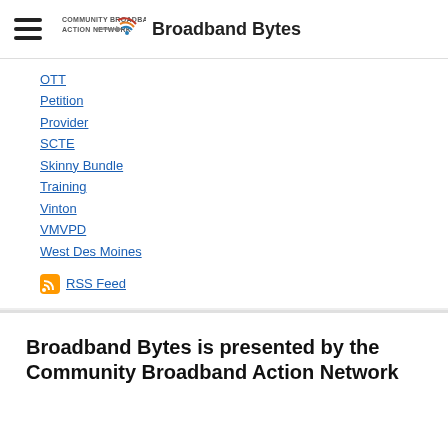Community Broadband Action Network — Broadband Bytes
OTT
Petition
Provider
SCTE
Skinny Bundle
Training
Vinton
VMVPD
West Des Moines
RSS Feed
Broadband Bytes is presented by the Community Broadband Action Network